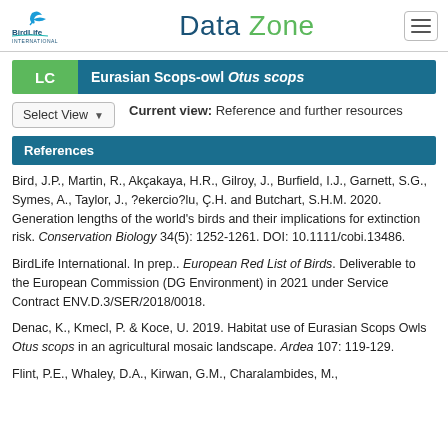BirdLife International | Data Zone
LC Eurasian Scops-owl Otus scops
Current view: Reference and further resources
References
Bird, J.P., Martin, R., Akçakaya, H.R., Gilroy, J., Burfield, I.J., Garnett, S.G., Symes, A., Taylor, J., ?ekercio?lu, Ç.H. and Butchart, S.H.M. 2020. Generation lengths of the world's birds and their implications for extinction risk. Conservation Biology 34(5): 1252-1261. DOI: 10.1111/cobi.13486.
BirdLife International. In prep.. European Red List of Birds. Deliverable to the European Commission (DG Environment) in 2021 under Service Contract ENV.D.3/SER/2018/0018.
Denac, K., Kmecl, P. & Koce, U. 2019. Habitat use of Eurasian Scops Owls Otus scops in an agricultural mosaic landscape. Ardea 107: 119-129.
Flint, P.E., Whaley, D.A., Kirwan, G.M., Charalambides, M.,